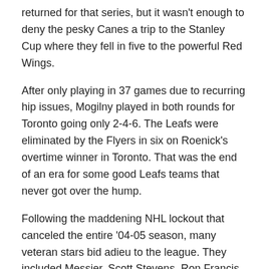returned for that series, but it wasn't enough to deny the pesky Canes a trip to the Stanley Cup where they fell in five to the powerful Red Wings.
After only playing in 37 games due to recurring hip issues, Mogilny played in both rounds for Toronto going only 2-4-6. The Leafs were eliminated by the Flyers in six on Roenick's overtime winner in Toronto. That was the end of an era for some good Leafs teams that never got over the hump.
Following the maddening NHL lockout that canceled the entire '04-05 season, many veteran stars bid adieu to the league. They included Messier, Scott Stevens, Ron Francis and eventually Hull and Mogilny. He was brought back to New Jersey by Lamoriello, but even with okay production (12-23-25 in 34 GP), he wasn't as effective at